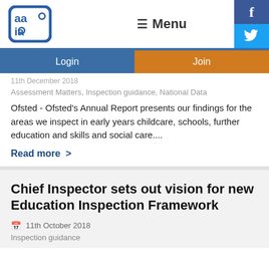[Figure (logo): AAIA logo - blue rounded square with letters aa ia]
≡ Menu
f (Facebook) | Twitter bird icon
Login
Join
11th December 2018
Assessment Matters, Inspection guidance, National Data
Ofsted - Ofsted's Annual Report presents our findings for the areas we inspect in early years childcare, schools, further education and skills and social care....
Read more >
Chief Inspector sets out vision for new Education Inspection Framework
11th October 2018
Inspection guidance